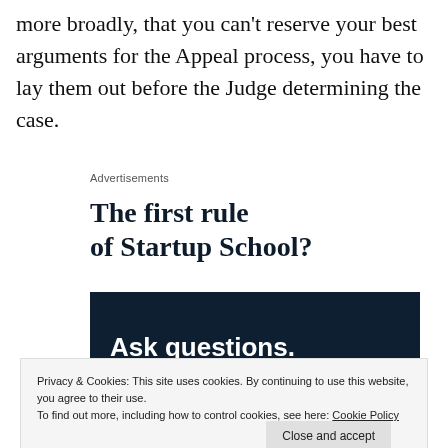more broadly, that you can’t reserve your best arguments for the Appeal process, you have to lay them out before the Judge determining the case.
Advertisements
[Figure (illustration): Advertisement: 'The first rule of Startup School?' with 'Ask questions.' on dark navy background]
Privacy & Cookies: This site uses cookies. By continuing to use this website, you agree to their use.
To find out more, including how to control cookies, see here: Cookie Policy
Close and accept